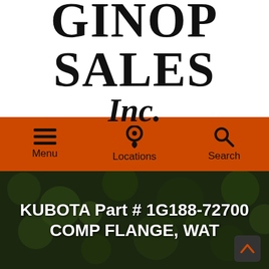[Figure (logo): Ginop Sales Inc. logo with stylized serif text in black on white background]
[Figure (infographic): Orange navigation bar with Menu (hamburger icon), Locations (pin icon), and Search (magnifying glass icon)]
KUBOTA Part # 1G188-72700 COMP FLANGE, WAT